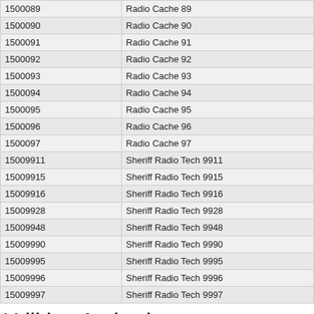| Radio ID | User/Unit |
| --- | --- |
| 1500089 | Radio Cache 89 |
| 1500090 | Radio Cache 90 |
| 1500091 | Radio Cache 91 |
| 1500092 | Radio Cache 92 |
| 1500093 | Radio Cache 93 |
| 1500094 | Radio Cache 94 |
| 1500095 | Radio Cache 95 |
| 1500096 | Radio Cache 96 |
| 1500097 | Radio Cache 97 |
| 15009911 | Sheriff Radio Tech 9911 |
| 15009915 | Sheriff Radio Tech 9915 |
| 15009916 | Sheriff Radio Tech 9916 |
| 15009928 | Sheriff Radio Tech 9928 |
| 15009948 | Sheriff Radio Tech 9948 |
| 15009990 | Sheriff Radio Tech 9990 |
| 15009995 | Sheriff Radio Tech 9995 |
| 15009996 | Sheriff Radio Tech 9996 |
| 15009997 | Sheriff Radio Tech 9997 |
Utilities Authority
| Radio ID | User/Unit |
| --- | --- |
| 1552250 | Utilities Authority Portable 250 |
| 1552251 | Utilities Authority Portable 251 |
| 1552252 | Utilities Authority Portable 252 |